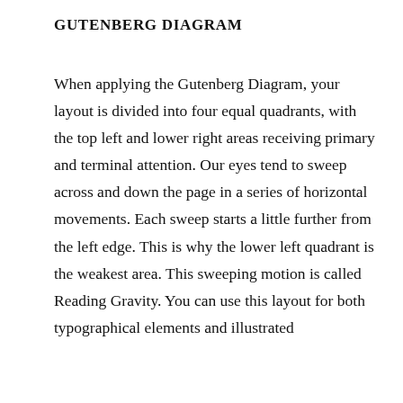GUTENBERG DIAGRAM
When applying the Gutenberg Diagram, your layout is divided into four equal quadrants, with the top left and lower right areas receiving primary and terminal attention. Our eyes tend to sweep across and down the page in a series of horizontal movements. Each sweep starts a little further from the left edge. This is why the lower left quadrant is the weakest area. This sweeping motion is called Reading Gravity. You can use this layout for both typographical elements and illustrated